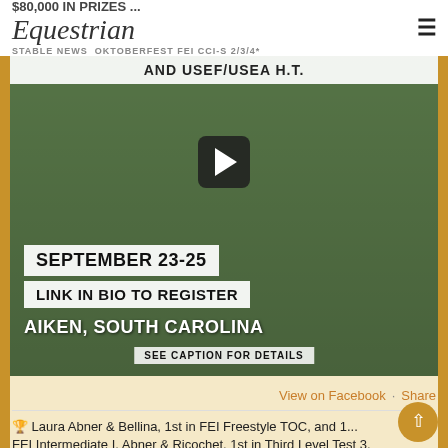$80,000 IN PRIZES ... Equestrian STABLE NEWS OKTOBERFEST FEI CCI-S 2/3/4*
[Figure (screenshot): Video thumbnail showing horse and rider jumping a cross-country fence at an equestrian event. Overlaid text reads: AND USEF/USEA H.T. / SEPTEMBER 23-25 / LINK IN BIO TO REGISTER / AIKEN, SOUTH CAROLINA / SEE CAPTION FOR DETAILS]
View on Facebook · Share
🏆 Laura Abner & Bellina, 1st in FEI Freestyle TOC, and 1...
FEI Intermediate I. Abner & Ricochet, 1st in Third Level Test 3,